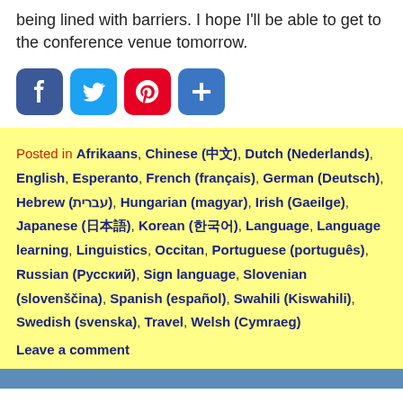being lined with barriers. I hope I'll be able to get to the conference venue tomorrow.
[Figure (other): Social sharing buttons: Facebook (blue), Twitter (light blue), Pinterest (red), Plus/share (blue)]
Posted in Afrikaans, Chinese (中文), Dutch (Nederlands), English, Esperanto, French (français), German (Deutsch), Hebrew (עברית), Hungarian (magyar), Irish (Gaeilge), Japanese (日本語), Korean (한국어), Language, Language learning, Linguistics, Occitan, Portuguese (português), Russian (Русский), Sign language, Slovenian (slovenščina), Spanish (español), Swahili (Kiswahili), Swedish (svenska), Travel, Welsh (Cymraeg)
Leave a comment
Honey eaters, brown